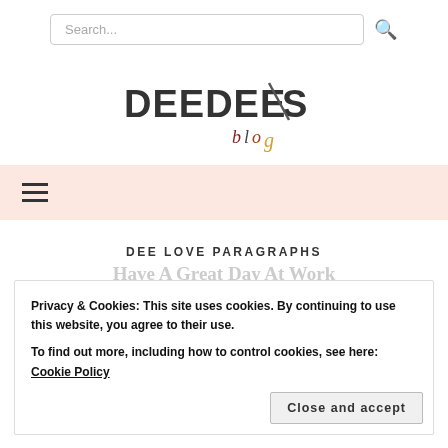Search...
[Figure (logo): DEEDEES blog logo — DEEDEES in bold dark geometric letters with lightning bolt, blog in colored letters below]
[Figure (other): Hamburger menu icon (three horizontal lines) on a light pink/peach background navigation bar]
DEE LOVE PARAGRAPHS
Have A Great Day At Work
Texts To Send To Him
Privacy & Cookies: This site uses cookies. By continuing to use this website, you agree to their use.
To find out more, including how to control cookies, see here: Cookie Policy
Close and accept
Detola Deedoo   3 Comments